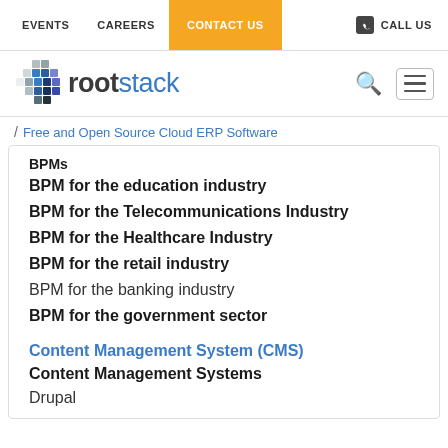EVENTS   CAREERS   CONTACT US   CALL US
[Figure (logo): Rootstack logo with cube icon and text 'rootstack' in blue and dark blue, with search and hamburger menu icons]
/ Free and Open Source Cloud ERP Software
BPMs
BPM for the education industry
BPM for the Telecommunications Industry
BPM for the Healthcare Industry
BPM for the retail industry
BPM for the banking industry
BPM for the government sector
Content Management System (CMS)
Content Management Systems
Drupal